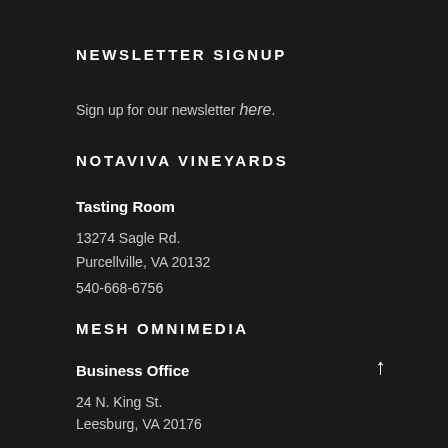NEWSLETTER SIGNUP
Sign up for our newsletter here.
NOTAVIVA VINEYARDS
Tasting Room
13274 Sagle Rd.
Purcellville, VA 20132
540-668-6756
MESH OMNIMEDIA
Business Office
24 N. King St.
Leesburg, VA 20176
888.501.1102